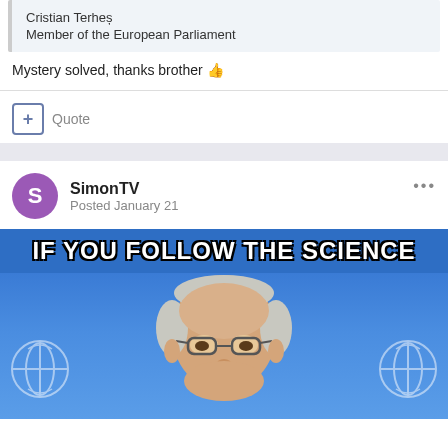Cristian Terheș
Member of the European Parliament
Mystery solved, thanks brother 👍
+ Quote
SimonTV
Posted January 21
[Figure (photo): Meme image showing a man (Anthony Fauci) in front of blue HHS background with bold white text reading 'IF YOU FOLLOW THE SCIENCE']